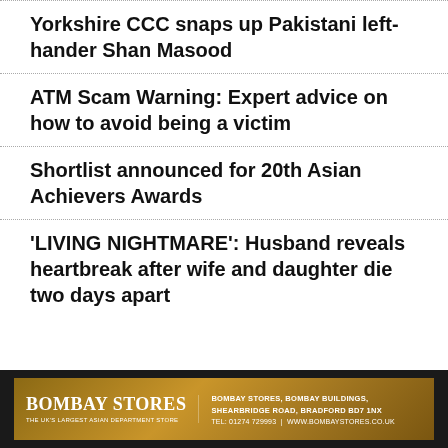Yorkshire CCC snaps up Pakistani left-hander Shan Masood
ATM Scam Warning: Expert advice on how to avoid being a victim
Shortlist announced for 20th Asian Achievers Awards
'LIVING NIGHTMARE': Husband reveals heartbreak after wife and daughter die two days apart
[Figure (other): Bombay Stores advertisement banner. Gold/brown background. Logo: BOMBAY STORES, THE UK'S LARGEST ASIAN DEPARTMENT STORE. Address: BOMBAY STORES, BOMBAY BUILDINGS, SHEARBRIDGE ROAD, BRADFORD BD7 1NX. TEL: 01274 729993 | WWW.BOMBAYSTORES.CO.UK]